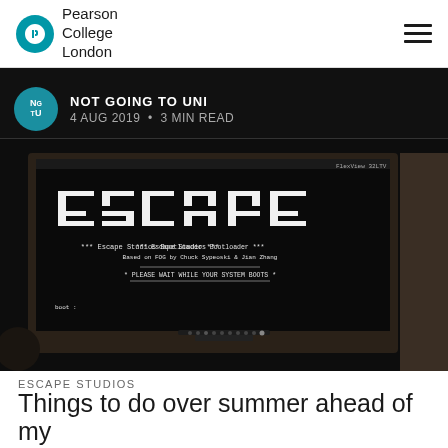Pearson College London
NOT GOING TO UNI
4 AUG 2019 • 3 MIN READ
[Figure (photo): Computer monitor displaying the word ESCAPE made of ASCII characters, with text 'Escape Studios Bootloader' and 'PLEASE WAIT WHILE YOUR SYSTEM BOOTS']
ESCAPE STUDIOS
Things to do over summer ahead of my